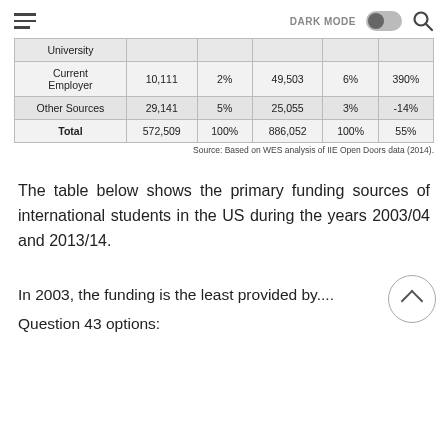DARK MODE [toggle] [search]
|  | 2003/04 | % | 2013/14 | % | Change |
| --- | --- | --- | --- | --- | --- |
| University |  |  |  |  |  |
| Current Employer | 10,111 | 2% | 49,503 | 6% | 390% |
| Other Sources | 29,141 | 5% | 25,055 | 3% | -14% |
| Total | 572,509 | 100% | 886,052 | 100% | 55% |
Source: Based on WES analysis of IIE Open Doors data (2014).
The table below shows the primary funding sources of international students in the US during the years 2003/04 and 2013/14.
In 2003, the funding is the least provided by....
Question 43 options: